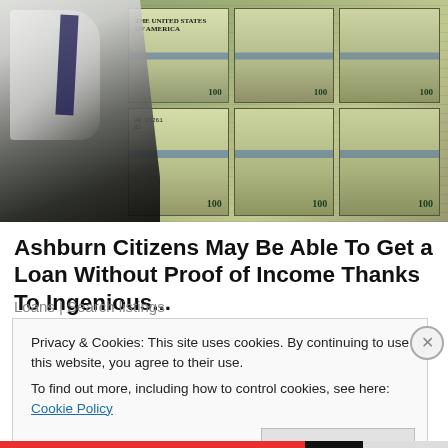[Figure (photo): A man in a white shirt and dark tie standing next to large stacks of bundled US $100 dollar bills piled high on a surface]
Ashburn Citizens May Be Able To Get a Loan Without Proof of Income Thanks To Ingenious...
Loans | Search listings
Privacy & Cookies: This site uses cookies. By continuing to use this website, you agree to their use.
To find out more, including how to control cookies, see here: Cookie Policy